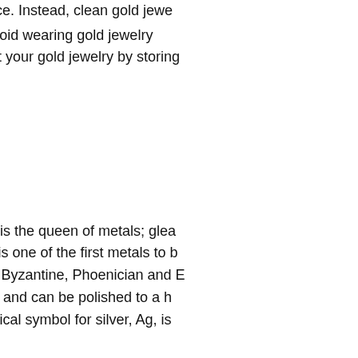surface. Instead, clean gold jewe
Avoid wearing gold jewelry
Protect your gold jewelry by storing
S
Silver is the queen of metals; glea
Silver is one of the first metals to b
ancient Byzantine, Phoenician and E
metal and can be polished to a h
chemical symbol for silver, Ag, is
In recent years, silver has lost muc
However its low price often means 
color) is popular today among youn
in their accessorizing, and among t
Fine silver in its natural state, 999/1
practical jewelry. To make it workab
mo